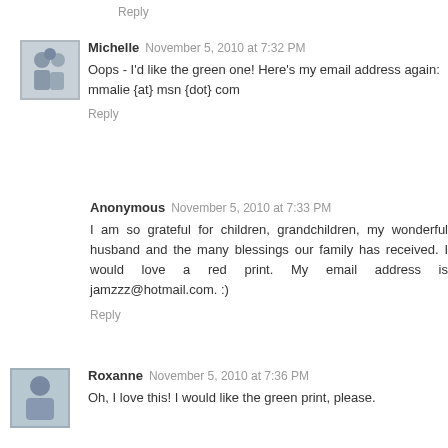Reply
Michelle  November 5, 2010 at 7:32 PM
Oops - I'd like the green one! Here's my email address again:
mmalie {at} msn {dot} com
Reply
Anonymous  November 5, 2010 at 7:33 PM
I am so grateful for children, grandchildren, my wonderful husband and the many blessings our family has received. I would love a red print. My email address is jamzzz@hotmail.com. :)
Reply
Roxanne  November 5, 2010 at 7:36 PM
Oh, I love this! I would like the green print, please.